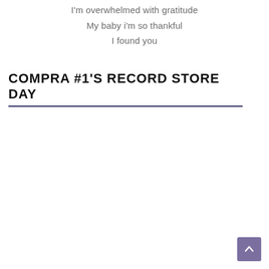I'm overwhelmed with gratitude
My baby i'm so thankful
I found you
COMPRA #1'S RECORD STORE DAY